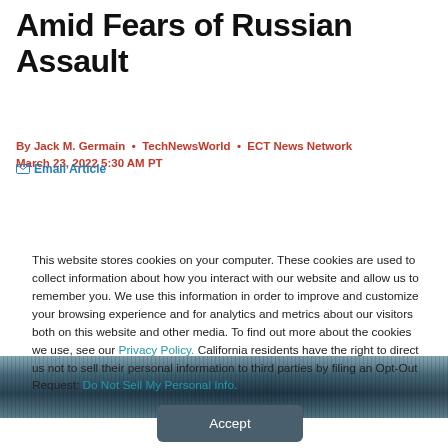Amid Fears of Russian Assault
By Jack M. Germain • TechNewsWorld • ECT News Network
March 23, 2022 5:30 AM PT
✉ Email Article
[Figure (photo): Horizontal banner image with dark teal/blue tones suggesting a technology or cybersecurity theme]
This website stores cookies on your computer. These cookies are used to collect information about how you interact with our website and allow us to remember you. We use this information in order to improve and customize your browsing experience and for analytics and metrics about our visitors both on this website and other media. To find out more about the cookies we use, see our Privacy Policy. California residents have the right to direct us not to sell their personal information to third parties by filing an Opt-Out Request: Do Not Sell My Personal Info.